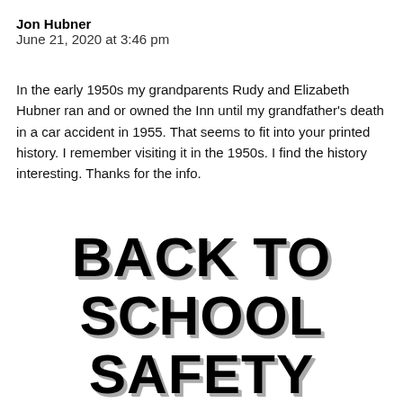Jon Hubner
June 21, 2020 at 3:46 pm
In the early 1950s my grandparents Rudy and Elizabeth Hubner ran and or owned the Inn until my grandfather's death in a car accident in 1955. That seems to fit into your printed history. I remember visiting it in the 1950s. I find the history interesting. Thanks for the info.
Comments are closed.
BACK TO SCHOOL SAFETY